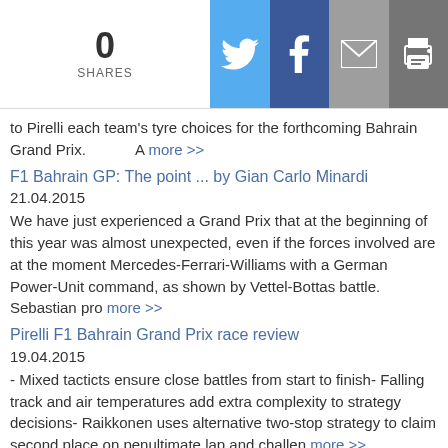0 SHARES
to Pirelli each team's tyre choices for the forthcoming Bahrain Grand Prix. A more >>
F1 Bahrain GP: The point ... by Gian Carlo Minardi
21.04.2015
We have just experienced a Grand Prix that at the beginning of this year was almost unexpected, even if the forces involved are at the moment Mercedes-Ferrari-Williams with a German Power-Unit command, as shown by Vettel-Bottas battle. Sebastian pro more >>
Pirelli F1 Bahrain Grand Prix race review
19.04.2015
- Mixed tacticts ensure close battles from start to finish- Falling track and air temperatures add extra complexity to strategy decisions- Raikkonen uses alternative two-stop strategy to claim second place on penultimate lap and challen more >>
Sauber F1 Team Bahrain GP race
19.04.2015
Gulf Air Bahrain Grand Prix – Race – Sunday, 19.04.2015Weather: dry, 26-24°C air, 31-29°C trackThe Bahrain Grand Prix, the first night race of the season, ended in disappointment for the Sauber F1 more >>
McLaren Honda F1 Bahrain GP race
19.04.2015